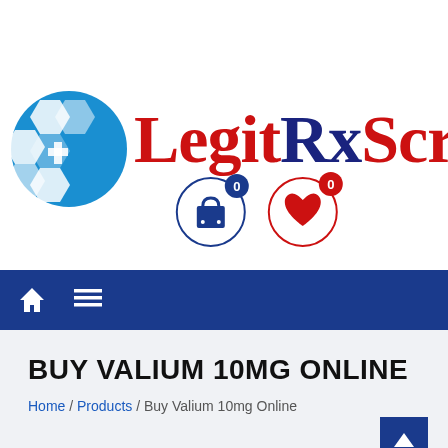[Figure (logo): LegitRxScript logo with blue hexagon icon on left and red/navy serif text 'LegitRxScript' on right, plus cart and wishlist icons with zero-count badges]
[Figure (infographic): Navigation bar with white house icon and hamburger menu icon on blue background]
BUY VALIUM 10MG ONLINE
Home / Products / Buy Valium 10mg Online